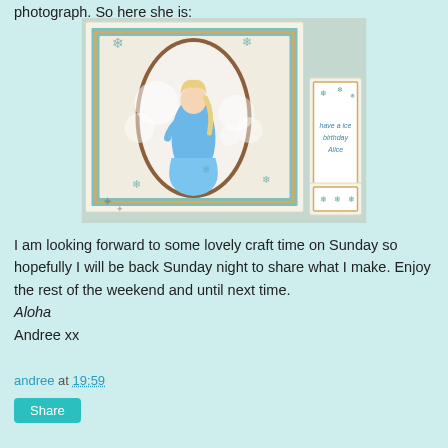photograph. So here she is:
[Figure (photo): A handmade birthday card featuring Elsa from Frozen, with snowflake decorations on teal patterned paper, an oval frame, brown circular border, and a small tag reading 'have a ice birthday Alice']
I am looking forward to some lovely craft time on Sunday so hopefully I will be back Sunday night to share what I make. Enjoy the rest of the weekend and until next time.
Aloha
Andree xx
andree at 19:59
Share